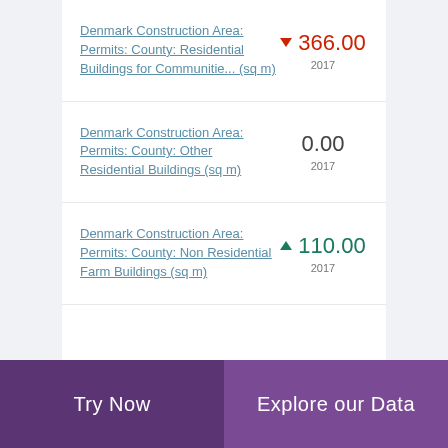Denmark Construction Area: Permits: County: Residential Buildings for Communitie... (sq m)
Denmark Construction Area: Permits: County: Other Residential Buildings (sq m)
Denmark Construction Area: Permits: County: Non Residential Farm Buildings (sq m)
Try Now | Explore our Data